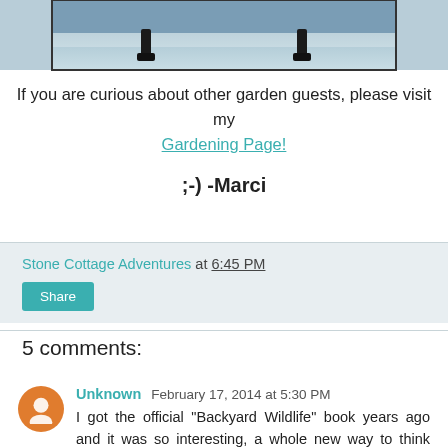[Figure (photo): Partial view of a beach or icy shoreline scene, showing feet/skates near water edge. Only the bottom strip of the photo is visible.]
If you are curious about other garden guests, please visit my Gardening Page!
;-)  -Marci
Stone Cottage Adventures at 6:45 PM
Share
5 comments:
Unknown February 17, 2014 at 5:30 PM
I got the official "Backyard Wildlife" book years ago and it was so interesting, a whole new way to think about gardening. You've inspired me to re-read it and apply for